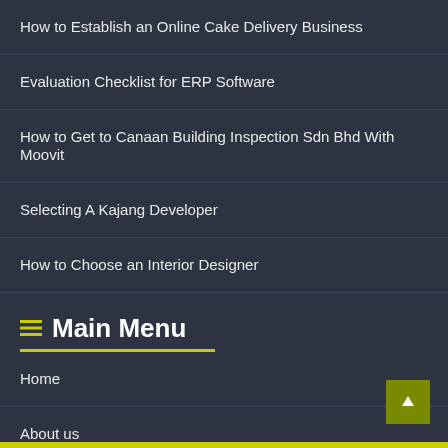How to Establish an Online Cake Delivery Business
Evaluation Checklist for ERP Software
How to Get to Canaan Building Inspection Sdn Bhd With Moovit
Selecting A Kajang Developer
How to Choose an Interior Designer
Main Menu
Home
About us
Privacy Policy
Contact Us
Blog